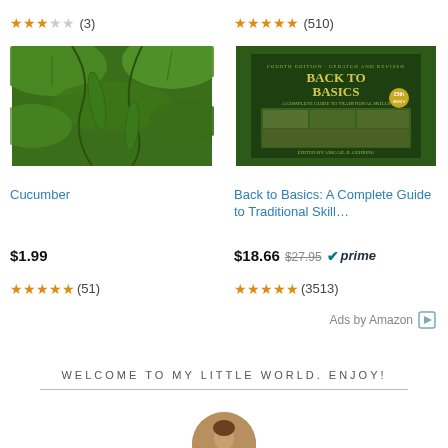[Figure (other): Star rating: 2.5 out of 5 stars (3 reviews) for left product]
[Figure (other): Star rating: 5 out of 5 stars (510 reviews) for right product]
[Figure (photo): Photo of cucumber plant with hanging cucumbers on vine with green leaves]
[Figure (photo): Book cover: Back to Basics: A Complete Guide to Traditional Skills, green cover with images]
Cucumber
Back to Basics: A Complete Guide to Traditional Skill…
$1.99
[Figure (other): Star rating: 5 out of 5 stars (51 reviews)]
$18.66 $27.95 prime
[Figure (other): Star rating: 5 out of 5 stars (3513 reviews)]
Ads by Amazon
WELCOME TO MY LITTLE WORLD. ENJOY!
[Figure (photo): Circular portrait photo of a person]